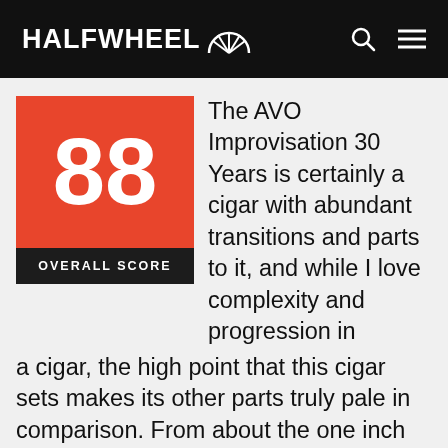HALFWHEEL
[Figure (other): Score box showing 88 in orange/red with OVERALL SCORE label below in black]
The AVO Improvisation 30 Years is certainly a cigar with abundant transitions and parts to it, and while I love complexity and progression in a cigar, the high point that this cigar sets makes its other parts truly pale in comparison. From about the one inch mark through just past the midpoint, the cigar is nuanced, incredibly creamy, and just peppery enough to offer stimulation for the nose and tongue. Past that point, however, the cigar gets dry and toasty before turning charred and stinging. Yet even with that less than